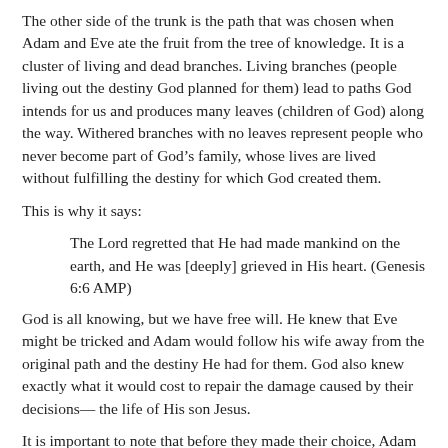The other side of the trunk is the path that was chosen when Adam and Eve ate the fruit from the tree of knowledge. It is a cluster of living and dead branches. Living branches (people living out the destiny God planned for them) lead to paths God intends for us and produces many leaves (children of God) along the way. Withered branches with no leaves represent people who never become part of God’s family, whose lives are lived without fulfilling the destiny for which God created them.
This is why it says:
The Lord regretted that He had made mankind on the earth, and He was [deeply] grieved in His heart. (Genesis 6:6 AMP)
God is all knowing, but we have free will. He knew that Eve might be tricked and Adam would follow his wife away from the original path and the destiny He had for them. God also knew exactly what it would cost to repair the damage caused by their decisions— the life of His son Jesus.
It is important to note that before they made their choice, Adam and Eve, in their human physical form, had complete authority over the Earth. (Genesis 3) Satan had to appear to them in a physical body (a snake) in order to seize that authority from them. Although neither Satan nor Lucifer was named in the